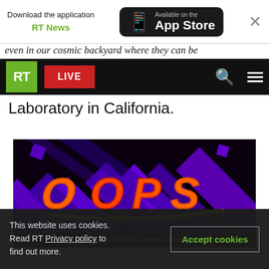Download the application RT News — Available on the App Store
even in our cosmic backyard where they can be
RT | LIVE
Laboratory in California.
[Figure (illustration): Animated GIF placeholder showing OOPS text in orange/red fiery letters over purple diagonal bars on dark background, with caption: This GIF no longer exists! Looking for more GIFs?]
This website uses cookies. Read RT Privacy policy to find out more.